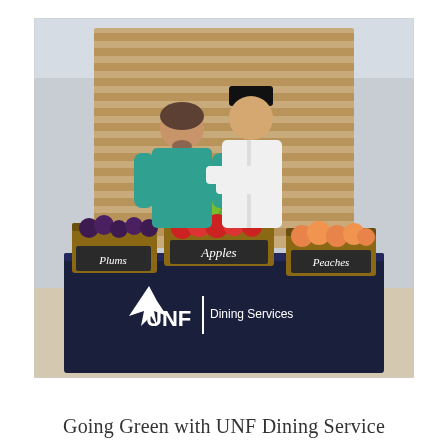[Figure (photo): Two people standing behind a table draped with a navy blue UNF Dining Services tablecloth. Three wooden crates on the table contain fruit labeled Plums, Apples, and Peaches. The background shows a building interior with wooden lattice partitions.]
Going Green with UNF Dining Service